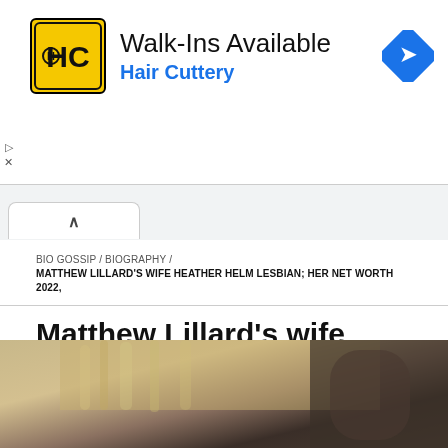[Figure (screenshot): Hair Cuttery advertisement banner with yellow HC logo, 'Walk-Ins Available' text, 'Hair Cuttery' in blue, and a blue diamond navigation icon on the right]
BIO GOSSIP / BIOGRAPHY /
MATTHEW LILLARD'S WIFE HEATHER HELM LESBIAN; HER NET WORTH 2022,
Matthew Lillard's wife Heather Helm Lesbian; Her Net Worth 2022,
Updated On June 2, 2022
[Figure (photo): Partial photo showing a blonde woman and a man, cropped at bottom of page]